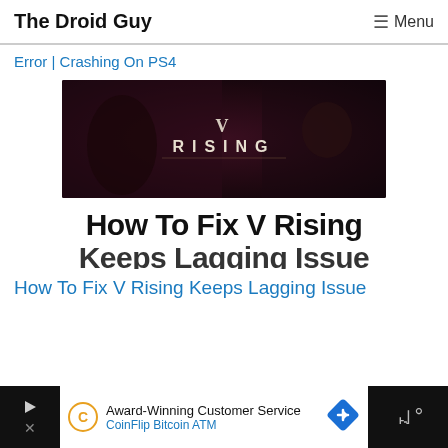The Droid Guy | Menu
Error | Crashing On PS4
[Figure (photo): V Rising game banner image showing dark fantasy characters with the game logo 'V RISING' in white text on a dark background]
How To Fix V Rising Keeps Lagging Issue
How To Fix V Rising Keeps Lagging Issue
Award-Winning Customer Service CoinFlip Bitcoin ATM